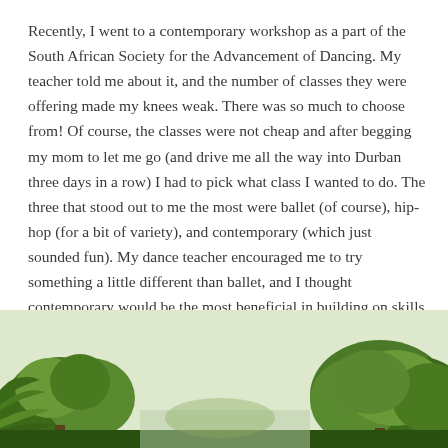Recently, I went to a contemporary workshop as a part of the South African Society for the Advancement of Dancing. My teacher told me about it, and the number of classes they were offering made my knees weak. There was so much to choose from! Of course, the classes were not cheap and after begging my mom to let me go (and drive me all the way into Durban three days in a row) I had to pick what class I wanted to do. The three that stood out to me the most were ballet (of course), hip-hop (for a bit of variety), and contemporary (which just sounded fun). My dance teacher encouraged me to try something a little different than ballet, and I thought contemporary would be the most beneficial in building on skills I already had.
[Figure (photo): Outdoor photo showing green trees and foliage against a light sky, partial view cropped at the bottom of the page.]